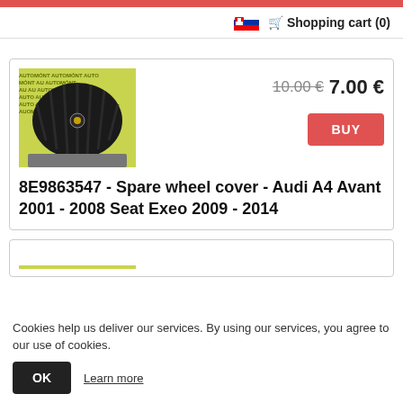Shopping cart (0)
[Figure (photo): Black spare wheel cover product photo on yellow branded background with AUTOMÓNT text]
10.00 € 7.00 €
8E9863547 - Spare wheel cover - Audi A4 Avant 2001 - 2008 Seat Exeo 2009 - 2014
Cookies help us deliver our services. By using our services, you agree to our use of cookies.
OK  Learn more